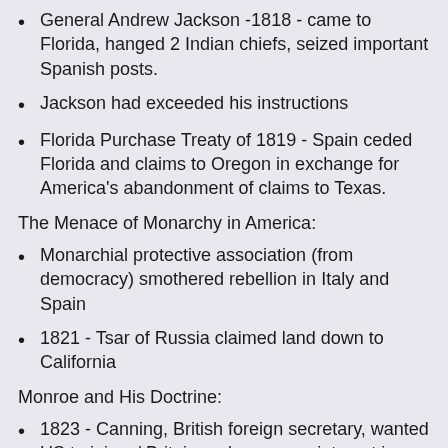General Andrew Jackson -1818 - came to Florida, hanged 2 Indian chiefs, seized important Spanish posts.
Jackson had exceeded his instructions
Florida Purchase Treaty of 1819 - Spain ceded Florida and claims to Oregon in exchange for America's abandonment of claims to Texas.
The Menace of Monarchy in America:
Monarchial protective association (from democracy) smothered rebellion in Italy and Spain
1821 - Tsar of Russia claimed land down to California
Monroe and His Doctrine:
1823 - Canning, British foreign secretary, wanted US to join w/ Britain and renounce interest in acquiring Latin American territory.